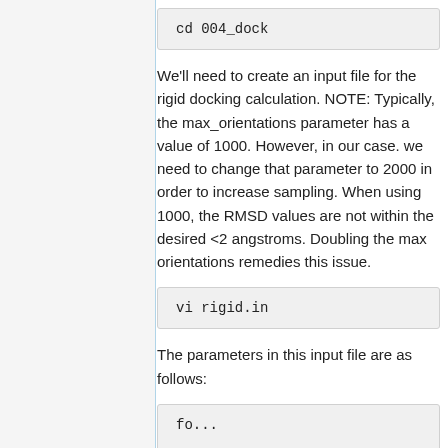cd 004_dock
We'll need to create an input file for the rigid docking calculation. NOTE: Typically, the max_orientations parameter has a value of 1000. However, in our case. we need to change that parameter to 2000 in order to increase sampling. When using 1000, the RMSD values are not within the desired <2 angstroms. Doubling the max orientations remedies this issue.
vi rigid.in
The parameters in this input file are as follows: